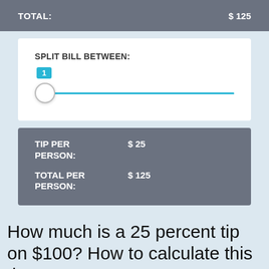| TOTAL: | $ 125 |
| --- | --- |
[Figure (screenshot): A UI slider control labeled 'SPLIT BILL BETWEEN:' with value bubble showing '1' and a cyan slider track with white circular thumb at the leftmost position.]
| TIP PER PERSON: | $ 25 |
| TOTAL PER PERSON: | $ 125 |
How much is a 25 percent tip on $100? How to calculate this tip?
Are you looking for the answer to this question: How much